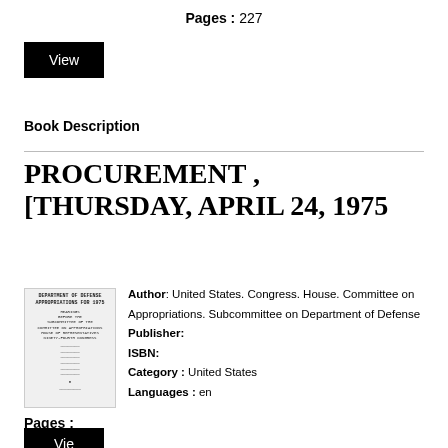Pages : 227
[Figure (other): Black button labeled 'View']
Book Description
PROCUREMENT , [THURSDAY, APRIL 24, 1975
[Figure (photo): Thumbnail of book cover for Department of Defense Appropriations hearing document]
Author: United States. Congress. House. Committee on Appropriations. Subcommittee on Department of Defense
Publisher:
ISBN:
Category : United States
Languages : en
Pages :
[Figure (other): Black button partially visible at bottom, likely 'View']